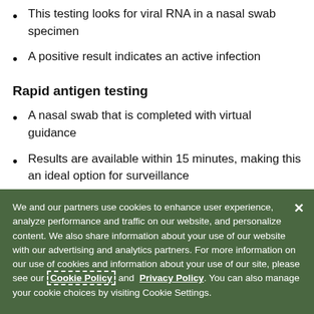This testing looks for viral RNA in a nasal swab specimen
A positive result indicates an active infection
Rapid antigen testing
A nasal swab that is completed with virtual guidance
Results are available within 15 minutes, making this an ideal option for surveillance
A positive result indicates an active infection, and can be confirmed with a NAAT
We and our partners use cookies to enhance user experience, analyze performance and traffic on our website, and personalize content. We also share information about your use of our website with our advertising and analytics partners. For more information on our use of cookies and information about your use of our site, please see our Cookie Policy and Privacy Policy. You can also manage your cookie choices by visiting Cookie Settings.